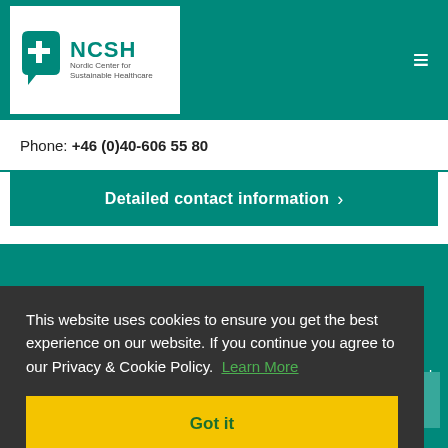NCSH Nordic Center for Sustainable Healthcare
Phone: +46 (0)40-606 55 80
Detailed contact information ›
This website uses cookies to ensure you get the best experience on our website. If you continue you agree to our Privacy & Cookie Policy. Learn More
Got it
inable
Website: www.tem.se